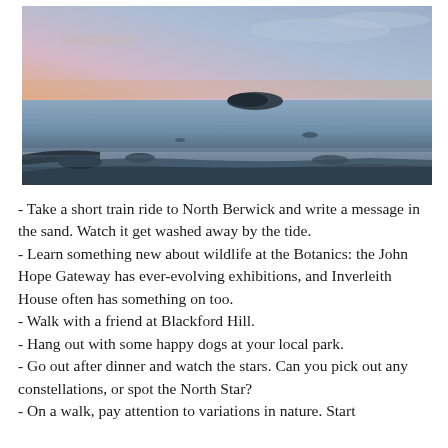[Figure (photo): A coastal seascape at dusk or dawn. A calm sea with a small dark island silhouette on the horizon. Rocky foreground with wet sand reflecting the soft orange, pink, and pale blue sky. Quiet, atmospheric evening lighting.]
- Take a short train ride to North Berwick and write a message in the sand. Watch it get washed away by the tide.
- Learn something new about wildlife at the Botanics: the John Hope Gateway has ever-evolving exhibitions, and Inverleith House often has something on too.
- Walk with a friend at Blackford Hill.
- Hang out with some happy dogs at your local park.
- Go out after dinner and watch the stars. Can you pick out any constellations, or spot the North Star?
- On a walk, pay attention to variations in nature. Start